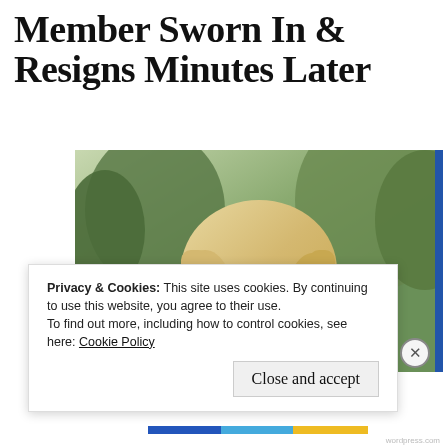Member Sworn In & Resigns Minutes Later
[Figure (photo): Close-up photo of a blonde woman wearing glasses, outdoors with trees in background. A blue vertical bar appears on the right edge.]
Privacy & Cookies: This site uses cookies. By continuing to use this website, you agree to their use.
To find out more, including how to control cookies, see here: Cookie Policy
Close and accept